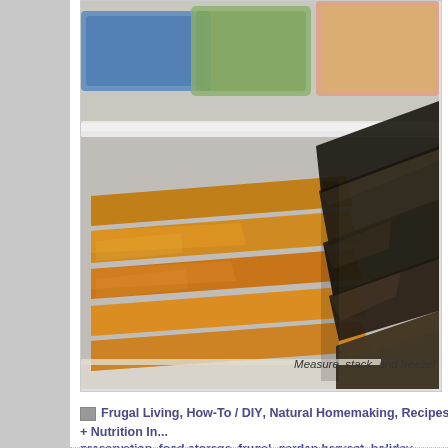[Figure (photo): Freezer shelf showing stacked flat orange/amber colored frozen food bags on the left and dark colored frozen food bags on the right, with additional frozen items visible on the upper shelf. Items appear to be frozen sauces or purees stacked and stored flat.]
Measure, stack, and freeze!
Frugal Living, How-To / DIY, Natural Homemaking, Recipes + Nutrition In... preservation, food storage, frugal, garden harvest, holiday, kitchen tips, real...